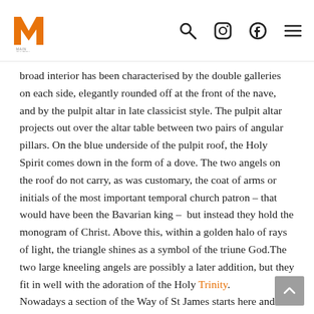Logo and navigation icons (search, Instagram, Facebook, menu)
broad interior has been characterised by the double galleries on each side, elegantly rounded off at the front of the nave, and by the pulpit altar in late classicist style. The pulpit altar projects out over the altar table between two pairs of angular pillars. On the blue underside of the pulpit roof, the Holy Spirit comes down in the form of a dove. The two angels on the roof do not carry, as was customary, the coat of arms or initials of the most important temporal church patron – that would have been the Bavarian king –  but instead they hold the monogram of Christ. Above this, within a golden halo of rays of light, the triangle shines as a symbol of the triune God.The two large kneeling angels are possibly a later addition, but they fit in well with the adoration of the Holy Trinity. Nowadays a section of the Way of St James starts here and goes past God's Acre church, which was spared from the fire and whose baroque furnishings are preserved.